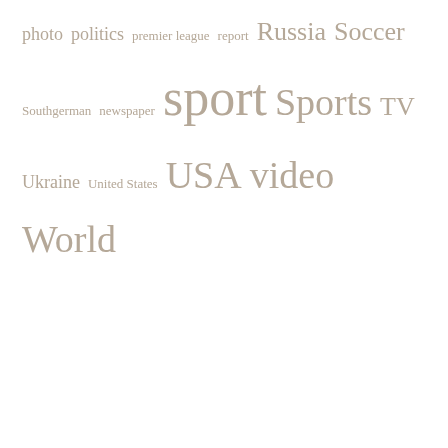photo politics premier league report Russia Soccer Southgerman newspaper sport Sports TV Ukraine United States USA video World